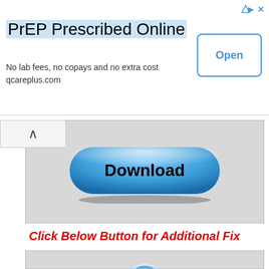[Figure (screenshot): Advertisement banner: PrEP Prescribed Online - No lab fees, no copays and no extra cost - qcareplus.com - with Open button]
[Figure (screenshot): Download button (blue pill-shaped button with Download text) in a grey box with chevron back button]
Click Below Button for Additional Fix
[Figure (screenshot): Second Download button (blue pill-shaped button with download icon and Download text) in a grey box]